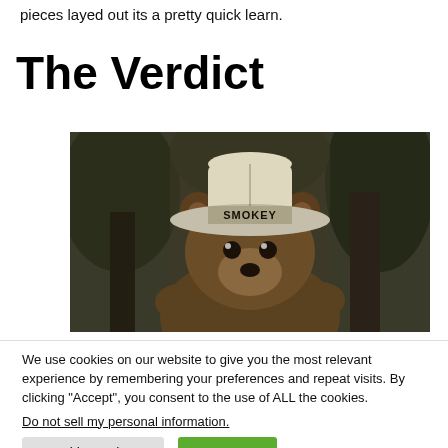pieces layed out its a pretty quick learn.
The Verdict
[Figure (photo): Smokey the Bear wearing a ranger hat with 'SMOKEY' written on it, in a dark forest setting, sepia-toned photograph.]
We use cookies on our website to give you the most relevant experience by remembering your preferences and repeat visits. By clicking “Accept”, you consent to the use of ALL the cookies.
Do not sell my personal information.